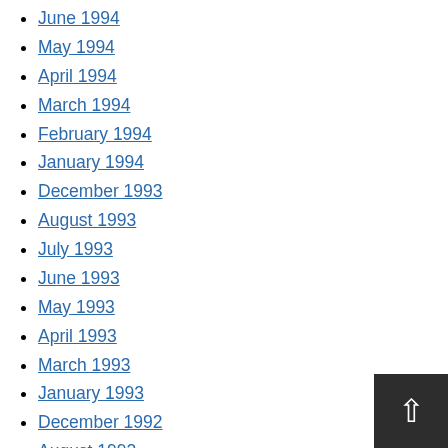June 1994
May 1994
April 1994
March 1994
February 1994
January 1994
December 1993
August 1993
July 1993
June 1993
May 1993
April 1993
March 1993
January 1993
December 1992
August 1992
July 1992
June 1992
May 1992